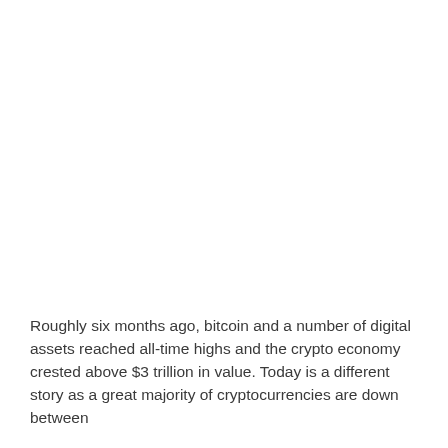Roughly six months ago, bitcoin and a number of digital assets reached all-time highs and the crypto economy crested above $3 trillion in value. Today is a different story as a great majority of cryptocurrencies are down between